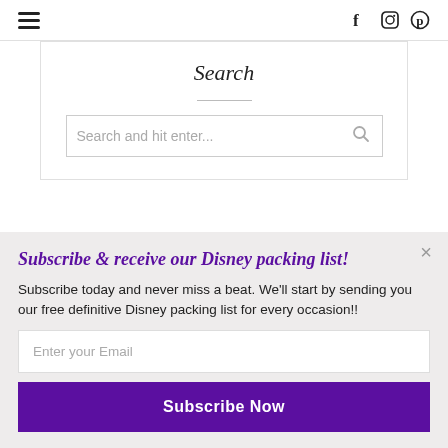≡  f  Instagram  Pinterest
Search
Search and hit enter...
Subscribe & receive our Disney packing list!
Subscribe today and never miss a beat. We'll start by sending you our free definitive Disney packing list for every occasion!!
Enter your Email
Subscribe Now